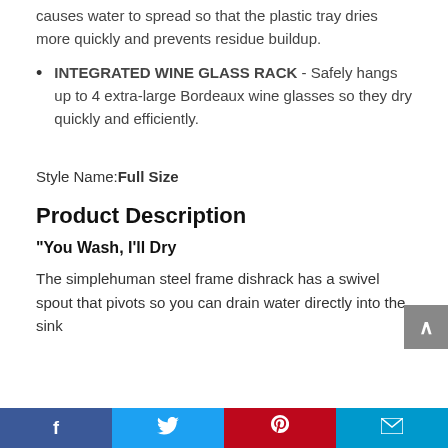causes water to spread so that the plastic tray dries more quickly and prevents residue buildup.
INTEGRATED WINE GLASS RACK - Safely hangs up to 4 extra-large Bordeaux wine glasses so they dry quickly and efficiently.
Style Name: Full Size
Product Description
“You Wash, I’ll Dry
The simplehuman steel frame dishrack has a swivel spout that pivots so you can drain water directly into the sink